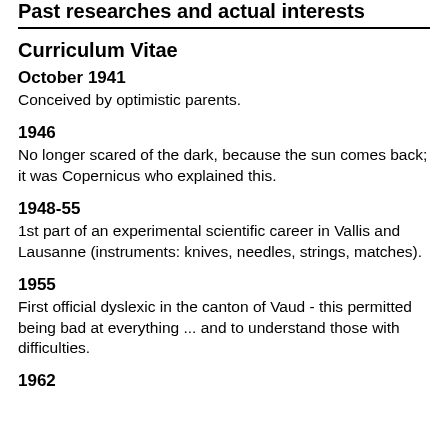Past researches and actual interests
Curriculum Vitae
October 1941
Conceived by optimistic parents.
1946
No longer scared of the dark, because the sun comes back; it was Copernicus who explained this.
1948-55
1st part of an experimental scientific career in Vallis and Lausanne (instruments: knives, needles, strings, matches).
1955
First official dyslexic in the canton of Vaud - this permitted being bad at everything ... and to understand those with difficulties.
1962